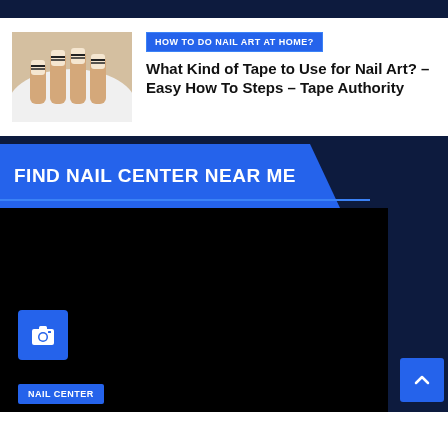[Figure (photo): Close-up photo of a hand with nail art - dark striped design on French manicure nails, resting on a white surface]
HOW TO DO NAIL ART AT HOME?
What Kind of Tape to Use for Nail Art? – Easy How To Steps – Tape Authority
FIND NAIL CENTER NEAR ME
[Figure (map): Dark/black map area representing a nail center locator map widget with a camera icon button and NAIL CENTER label at bottom left]
NAIL CENTER